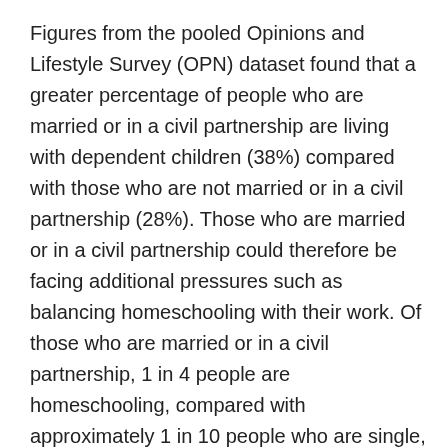Figures from the pooled Opinions and Lifestyle Survey (OPN) dataset found that a greater percentage of people who are married or in a civil partnership are living with dependent children (38%) compared with those who are not married or in a civil partnership (28%). Those who are married or in a civil partnership could therefore be facing additional pressures such as balancing homeschooling with their work. Of those who are married or in a civil partnership, 1 in 4 people are homeschooling, compared with approximately 1 in 10 people who are single, separated or divorced.
Analysis considering the impact of homeschooling during the coronavirus found that just over a quarter